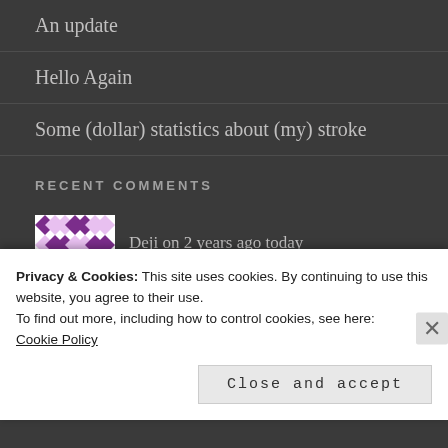An update
Hello Again
Some (dollar) statistics about (my) stroke
RECENT COMMENTS
Deji on 2 years ago today
Privacy & Cookies: This site uses cookies. By continuing to use this website, you agree to their use.
To find out more, including how to control cookies, see here:
Cookie Policy
Close and accept